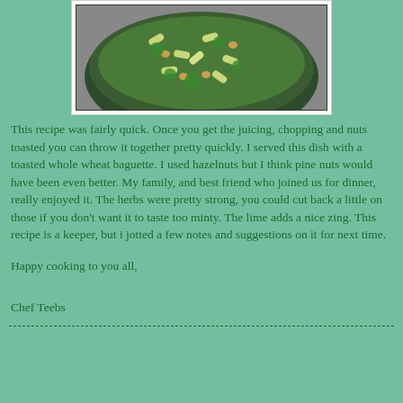[Figure (photo): A skillet/pan filled with pasta, green herbs, and nuts viewed from above]
This recipe was fairly quick. Once you get the juicing, chopping and nuts toasted you can throw it together pretty quickly. I served this dish with a toasted whole wheat baguette. I used hazelnuts but I think pine nuts would have been even better. My family, and best friend who joined us for dinner, really enjoyed it. The herbs were pretty strong, you could cut back a little on those if you don't want it to taste too minty. The lime adds a nice zing. This recipe is a keeper, but i jotted a few notes and suggestions on it for next time.
Happy cooking to you all,

Chef Teebs